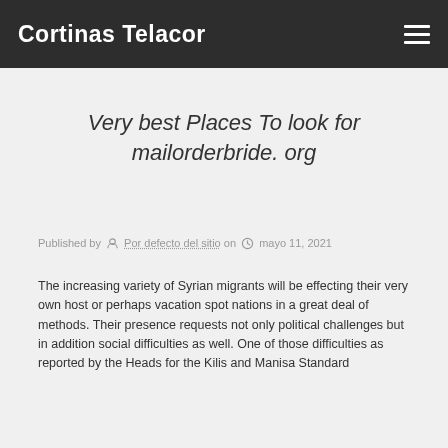Cortinas Telacor
Very best Places To look for mailorderbride. org
Published by Por defecto del sitio on mayo 11, 2021
The increasing variety of Syrian migrants will be effecting their very own host or perhaps vacation spot nations in a great deal of methods. Their presence requests not only political challenges but in addition social difficulties as well. One of those difficulties as reported by the Heads for the Kilis and Manisa Standard